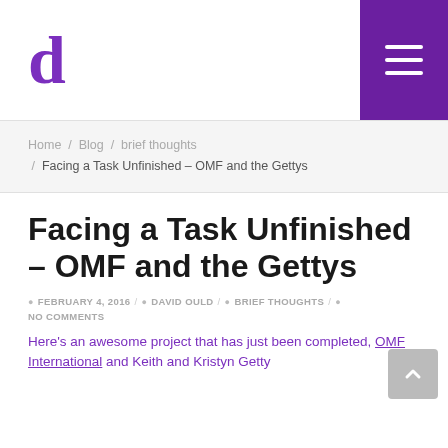d [logo] / menu button
Home / Blog / brief thoughts / Facing a Task Unfinished – OMF and the Gettys
Facing a Task Unfinished – OMF and the Gettys
FEBRUARY 4, 2016 / DAVID OULD / BRIEF THOUGHTS / NO COMMENTS
Here's an awesome project that has just been completed, OMF International and Keith and Kristyn Getty